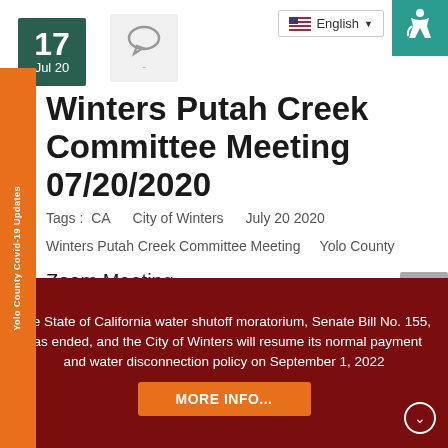[Figure (other): Date badge showing 17 Jul 20 in dark green]
[Figure (other): Comment/speech bubble icon in gray box]
[Figure (other): English language selector with US flag]
[Figure (other): Accessibility icon in teal square]
[Figure (other): Yolo County Covid-19 Updates orange sidebar]
Winters Putah Creek Committee Meeting 07/20/2020
Tags: CA   City of Winters   July 20 2020
Winters Putah Creek Committee Meeting   Yolo County
Zoom Meeting
The State of California water shutoff moratorium, Senate Bill No. 155, has ended, and the City of Winters will resume its normal payment and water disconnection policy on September 1, 2022
MORE INFO...